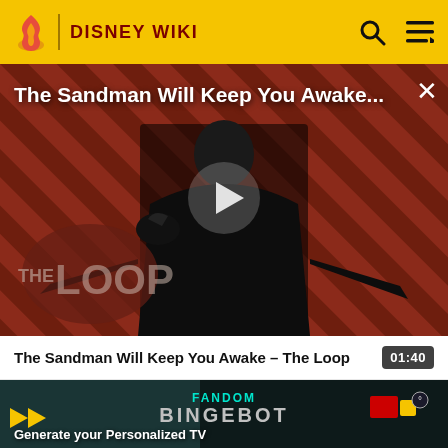DISNEY WIKI
[Figure (screenshot): Video player showing 'The Sandman Will Keep You Awake...' with a dark figure in a black cape standing in front of a red and black striped background with 'THE LOOP' logo overlay. A white play button triangle is centered in the frame.]
The Sandman Will Keep You Awake - The Loop
01:40
[Figure (screenshot): Thumbnail of 'FANDOM BINGEBOT' video with yellow arrows and colorful arcade-style imagery. Text reads 'Generate your Personalized TV Recommendations']